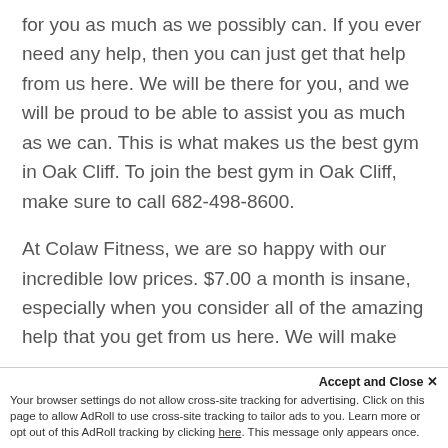for you as much as we possibly can. If you ever need any help, then you can just get that help from us here. We will be there for you, and we will be proud to be able to assist you as much as we can. This is what makes us the best gym in Oak Cliff. To join the best gym in Oak Cliff, make sure to call 682-498-8600.
At Colaw Fitness, we are so happy with our incredible low prices. $7.00 a month is insane, especially when you consider all of the amazing help that you get from us here. We will make sure to offer you the best prices, because we care about you so much. If you ever need any
help, then you will be able to get that help
Accept and Close ✕
Your browser settings do not allow cross-site tracking for advertising. Click on this page to allow AdRoll to use cross-site tracking to tailor ads to you. Learn more or opt out of this AdRoll tracking by clicking here. This message only appears once.